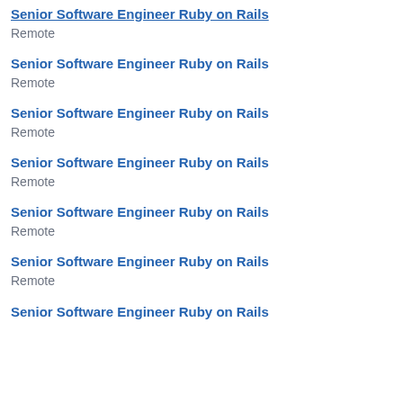Senior Software Engineer Ruby on Rails
Remote
Senior Software Engineer Ruby on Rails
Remote
Senior Software Engineer Ruby on Rails
Remote
Senior Software Engineer Ruby on Rails
Remote
Senior Software Engineer Ruby on Rails
Remote
Senior Software Engineer Ruby on Rails
Remote
Senior Software Engineer Ruby on Rails
Remote